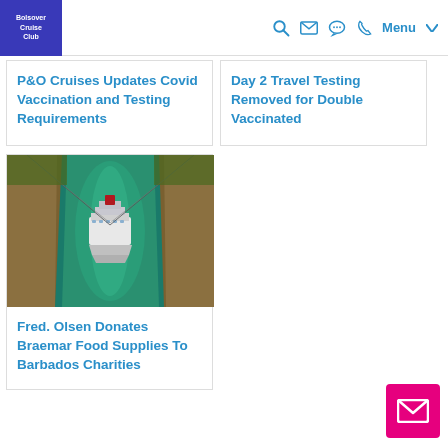Bolsover Cruise Club — navigation bar with logo, search, email, chat, phone, and Menu icons
P&O Cruises Updates Covid Vaccination and Testing Requirements
Day 2 Travel Testing Removed for Double Vaccinated
[Figure (photo): Aerial view of a cruise ship navigating through a narrow canal (appears to be the Corinth Canal) with rocky cliffs on either side and green-turquoise water]
Fred. Olsen Donates Braemar Food Supplies To Barbados Charities